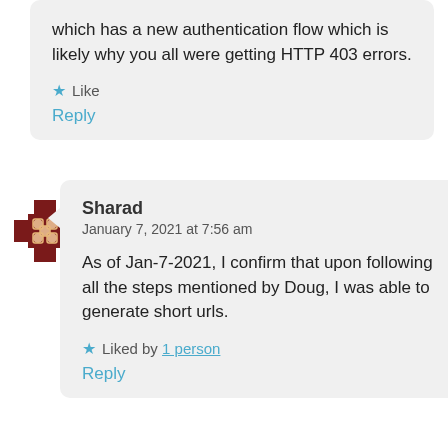which has a new authentication flow which is likely why you all were getting HTTP 403 errors.
★ Like
Reply
[Figure (illustration): Dark red pixel-art avatar icon resembling a decorative cross/diamond pattern]
Sharad
January 7, 2021 at 7:56 am
As of Jan-7-2021, I confirm that upon following all the steps mentioned by Doug, I was able to generate short urls.
★ Liked by 1 person
Reply